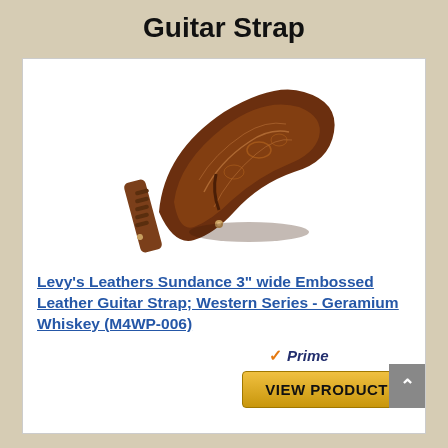Guitar Strap
[Figure (photo): Brown embossed leather guitar strap coiled/folded showing tooled western floral pattern on the wide end and adjustment holes on the narrow end]
Levy's Leathers Sundance 3" wide Embossed Leather Guitar Strap; Western Series - Geramium Whiskey (M4WP-006)
[Figure (logo): Amazon Prime logo with orange checkmark and italic blue Prime text]
VIEW PRODUCT